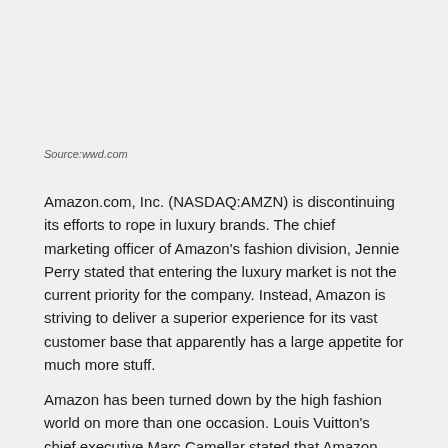Source:wwd.com
Amazon.com, Inc. (NASDAQ:AMZN) is discontinuing its efforts to rope in luxury brands. The chief marketing officer of Amazon's fashion division, Jennie Perry stated that entering the luxury market is not the current priority for the company. Instead, Amazon is striving to deliver a superior experience for its vast customer base that apparently has a large appetite for much more stuff.
Amazon has been turned down by the high fashion world on more than one occasion. Louis Vuitton's chief executive Marc Camellar stated that Amazon would become a seller of